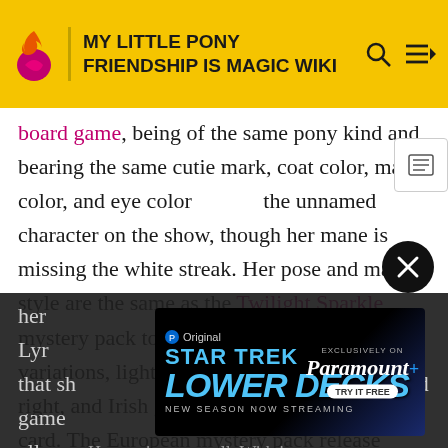MY LITTLE PONY FRIENDSHIP IS MAGIC WIKI
board game, being of the same pony kind and bearing the same cutie mark, coat color, mane color, and eye color the unnamed character on the show, though her mane is missing the white streak. Her pose and mane style are the same as the Twilight Sparkle mystery pack toy mold. The toy comes in two variations, light teal as the toy pictured to the right, and Irish green as the drawing on the card. The European mystery pack release names her Heartstrings and includes a collector card stating that she "sings all day!" The U.S. mystery pack release names her Lyra ... stating that she ... board game ... options all name her ... Heartstrings as well. With its
[Figure (screenshot): Star Trek Lower Decks advertisement banner: 'STAR TREK LOWER DECKS NEW SEASON NOW STREAMING' with Paramount+ logo and 'TRY IT FREE' button]